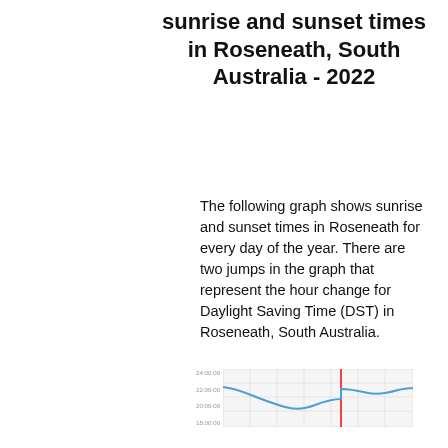sunrise and sunset times in Roseneath, South Australia - 2022
The following graph shows sunrise and sunset times in Roseneath for every day of the year. There are two jumps in the graph that represent the hour change for Daylight Saving Time (DST) in Roseneath, South Australia.
[Figure (continuous-plot): Partial view of a line chart showing sunset times in Roseneath across the year, with a red vertical line marking a DST transition and a blue curve showing sunset times. Y-axis labels visible: 24:00:00, 22:00:00, 20:00:00, 18:00:00.]